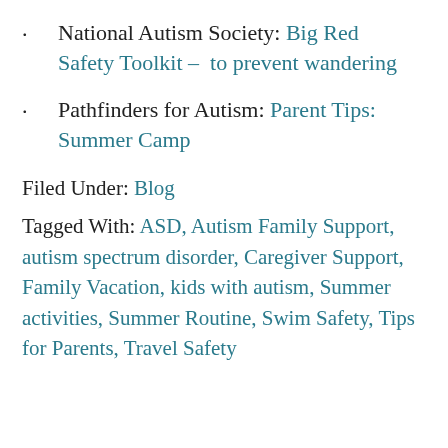National Autism Society: Big Red Safety Toolkit – to prevent wandering
Pathfinders for Autism: Parent Tips: Summer Camp
Filed Under: Blog
Tagged With: ASD, Autism Family Support, autism spectrum disorder, Caregiver Support, Family Vacation, kids with autism, Summer activities, Summer Routine, Swim Safety, Tips for Parents, Travel Safety